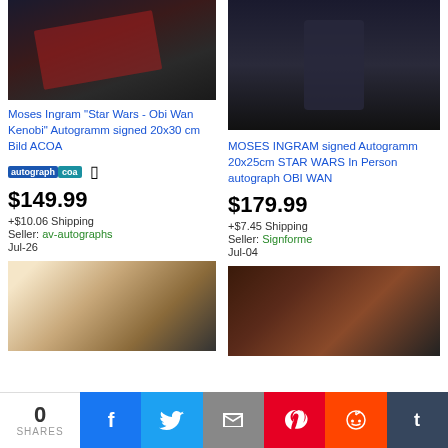[Figure (photo): Moses Ingram Star Wars Obi Wan Kenobi autographed photo with red lightsaber scene]
Moses Ingram "Star Wars - Obi Wan Kenobi" Autogramm signed 20x30 cm Bild ACOA autographcoa
$149.99
+$10.06 Shipping
Seller: av-autographs
Jul-26
[Figure (photo): Moses Ingram in black costume Star Wars signed autograph photo]
MOSES INGRAM signed Autogramm 20x25cm STAR WARS In Person autograph OBI WAN
$179.99
+$7.45 Shipping
Seller: Signforme
Jul-04
[Figure (photo): Moses Ingram close-up photo with bright light]
[Figure (photo): Moses Ingram portrait photo]
0 SHARES